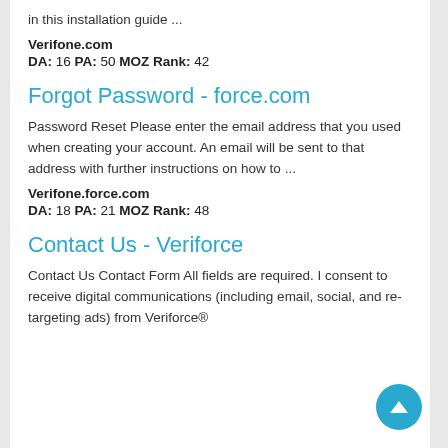in this installation guide ...
Verifone.com
DA: 16 PA: 50 MOZ Rank: 42
Forgot Password - force.com
Password Reset Please enter the email address that you used when creating your account. An email will be sent to that address with further instructions on how to ...
Verifone.force.com
DA: 18 PA: 21 MOZ Rank: 48
Contact Us - Veriforce
Contact Us Contact Form All fields are required. I consent to receive digital communications (including email, social, and re-targeting ads) from Veriforce®